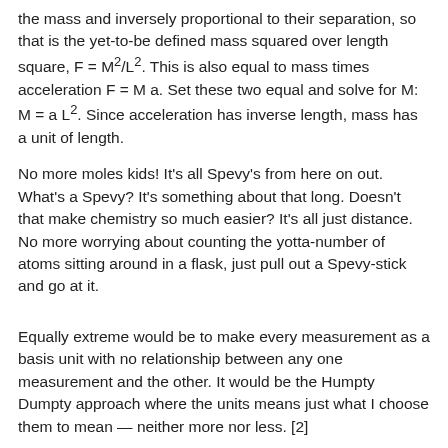the mass and inversely proportional to their separation, so that is the yet-to-be defined mass squared over length square, F = M²/L². This is also equal to mass times acceleration F = M a. Set these two equal and solve for M: M = a L². Since acceleration has inverse length, mass has a unit of length.
No more moles kids! It's all Spevy's from here on out. What's a Spevy? It's something about that long. Doesn't that make chemistry so much easier? It's all just distance. No more worrying about counting the yotta-number of atoms sitting around in a flask, just pull out a Spevy-stick and go at it.
Equally extreme would be to make every measurement as a basis unit with no relationship between any one measurement and the other. It would be the Humpty Dumpty approach where the units means just what I choose them to mean — neither more nor less. [2]
The best approach is to find a middle ground, somewhere